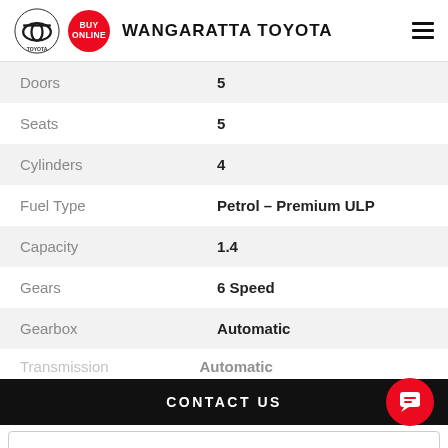WANGARATTA TOYOTA
| Attribute | Value |
| --- | --- |
| Doors | 5 |
| Seats | 5 |
| Cylinders | 4 |
| Fuel Type | Petrol – Premium ULP |
| Capacity | 1.4 |
| Gears | 6 Speed |
| Gearbox | Automatic |
| Transmission | Automatic |
CONTACT US
FINANCE THIS VEHICLE